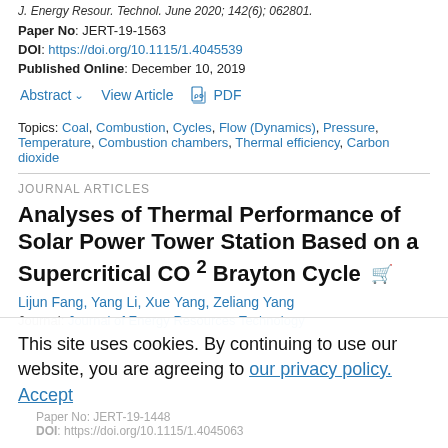J. Energy Resour. Technol. June 2020; 142(6); 062801.
Paper No: JERT-19-1563
DOI: https://doi.org/10.1115/1.4045539
Published Online: December 10, 2019
Abstract  View Article  PDF
Topics: Coal, Combustion, Cycles, Flow (Dynamics), Pressure, Temperature, Combustion chambers, Thermal efficiency, Carbon dioxide
JOURNAL ARTICLES
Analyses of Thermal Performance of Solar Power Tower Station Based on a Supercritical CO 2 Brayton Cycle
Lijun Fang, Yang Li, Xue Yang, Zeliang Yang
Journal: Journal of Energy Resources Technology
This site uses cookies. By continuing to use our website, you are agreeing to our privacy policy. Accept
Paper No: JERT-19-1448
DOI: https://doi.org/10.1115/1.4045063